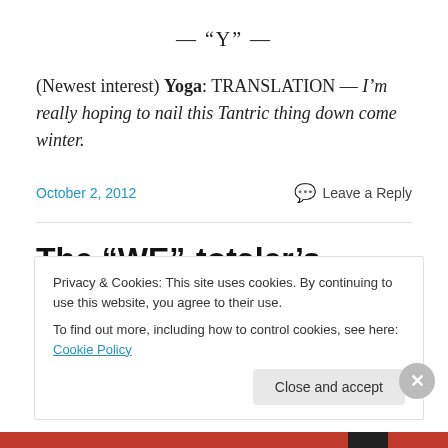— “Y” —
(Newest interest) Yoga: TRANSLATION — I’m really hoping to nail this Tantric thing down come winter.
October 2, 2012
Leave a Reply
The “WE”-totaler’s Dilemma
Privacy & Cookies: This site uses cookies. By continuing to use this website, you agree to their use.
To find out more, including how to control cookies, see here: Cookie Policy
Close and accept